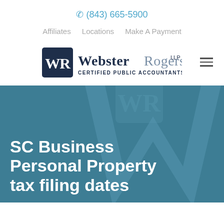(843) 665-5900
Affiliates  Locations  Make A Payment
[Figure (logo): Webster Rogers LLP logo — WR monogram in a dark navy square, followed by 'Webster Rogers LLP' in navy/grey serif text, with 'Certified Public Accountants • Consultants' tagline below]
SC Business Personal Property tax filing dates